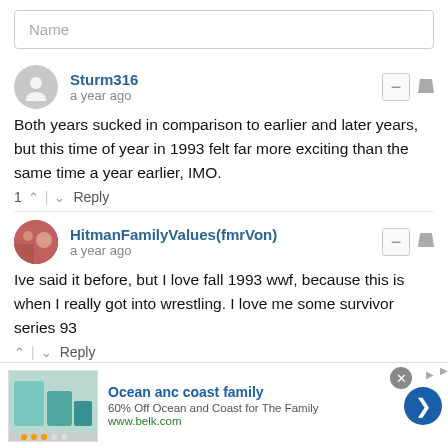Name
Sturm316 · a year ago
Both years sucked in comparison to earlier and later years, but this time of year in 1993 felt far more exciting than the same time a year earlier, IMO.
1 · Reply
HitmanFamilyValues(fmrVon) · a year ago
Ive said it before, but I love fall 1993 wwf, because this is when I really got into wrestling. I love me some survivor series 93
· Reply
Christopher Spicer
Ocean anc coast family
60% Off Ocean and Coast for The Family
www.belk.com